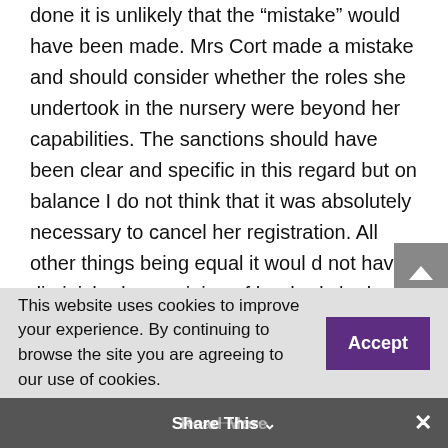done it is unlikely that the “mistake” would have been made. Mrs Cort made a mistake and should consider whether the roles she undertook in the nursery were beyond her capabilities. The sanctions should have been clear and specific in this regard but on balance I do not think that it was absolutely necessary to cancel her registration. All other things being equal it woul d not have diminished my opinion of her had she kept the nursery open. It is very fortunate that a tragedey did not result We all have the capacity to make mistakes. Remember the P M...
This website uses cookies to improve your experience. By continuing to browse the site you are agreeing to our use of cookies.
Share This